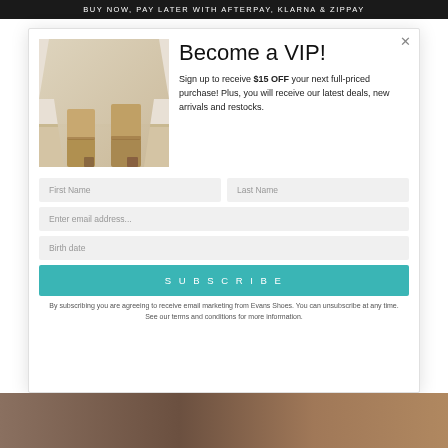BUY NOW, PAY LATER WITH AFTERPAY, KLARNA & ZIPPAY
Become a VIP!
[Figure (photo): A woman wearing a beige midi skirt and tan/nude ankle boots with a block heel, photographed from mid-calf down against a light wall with wooden floor.]
Sign up to receive $15 OFF your next full-priced purchase! Plus, you will receive our latest deals, new arrivals and restocks.
First Name
Last Name
Enter email address...
Birth date
SUBSCRIBE
By subscribing you are agreeing to receive email marketing from Evans Shoes. You can unsubscribe at any time. See our terms and conditions for more information.